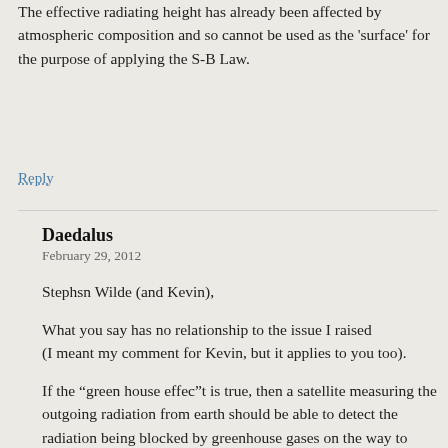The effective radiating height has already been affected by atmospheric composition and so cannot be used as the 'surface' for the purpose of applying the S-B Law.
Reply
Daedalus
February 29, 2012
Stephsn Wilde (and Kevin),
What you say has no relationship to the issue I raised
(I meant my comment for Kevin, but it applies to you too).
If the “green house effec”t is true, then a satellite measuring the outgoing radiation from earth should be able to detect the radiation being blocked by greenhouse gases on the way to space because the absorbtion happens at specific bands in the spectrum. The location and strength of the gaps in the spectrum should correspond to CO2, methane, etc. Furthermore